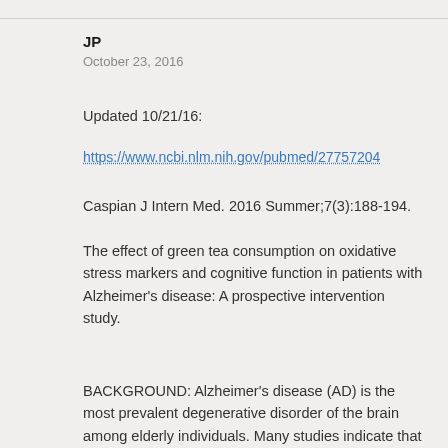JP
October 23, 2016
Updated 10/21/16:
https://www.ncbi.nlm.nih.gov/pubmed/27757204
Caspian J Intern Med. 2016 Summer;7(3):188-194.
The effect of green tea consumption on oxidative stress markers and cognitive function in patients with Alzheimer's disease: A prospective intervention study.
BACKGROUND: Alzheimer's disease (AD) is the most prevalent degenerative disorder of the brain among elderly individuals. Many studies indicate that oxidative stress is an important pathogenic factor which involves oxidizing macromolecules such as DNA, lipids, and proteins in AD. Green tea is a rich source of antioxidant compounds that can remove radical oxygen species. The purpose of this study was to investigate the influence of green tea consumption on markers of oxidative stress in AD.